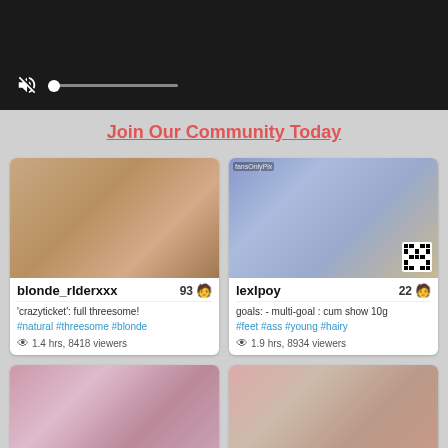[Figure (screenshot): Black video player with mute icon and progress bar controls at bottom left]
Join Our Community Today
[Figure (screenshot): Card for blonde_rIderxxx: thumbnail, 93 viewers, 'crazyticket': full threesome!, #natural #threesome #blonde, 1.4 hrs, 8418 viewers]
[Figure (screenshot): Card for lexIpoy: thumbnail, 22 viewers, goals: - multi-goal : cum show 10g #feet #ass #young #hairy, 1.9 hrs, 8934 viewers]
[Figure (screenshot): Card for JackandJill: thumbnail, full house today :p]
[Figure (screenshot): Card for sexy_b0rsch: thumbnail, sexy_b0rsch's room]